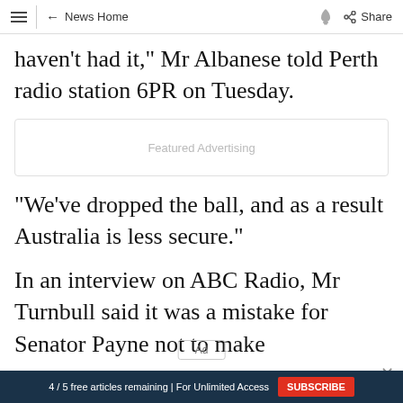News Home | Share
haven't had it," Mr Albanese told Perth radio station 6PR on Tuesday.
[Figure (other): Featured Advertising placeholder box]
"We've dropped the ball, and as a result Australia is less secure."
In an interview on ABC Radio, Mr Turnbull said it was a mistake for Senator Payne not to make the announcement the Scaler...
4 / 5 free articles remaining | For Unlimited Access  SUBSCRIBE